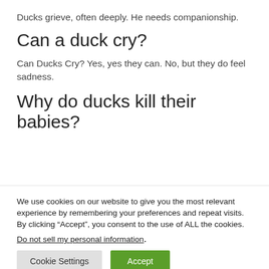Ducks grieve, often deeply. He needs companionship.
Can a duck cry?
Can Ducks Cry? Yes, yes they can. No, but they do feel sadness.
Why do ducks kill their babies?
We use cookies on our website to give you the most relevant experience by remembering your preferences and repeat visits. By clicking “Accept”, you consent to the use of ALL the cookies.
Do not sell my personal information.